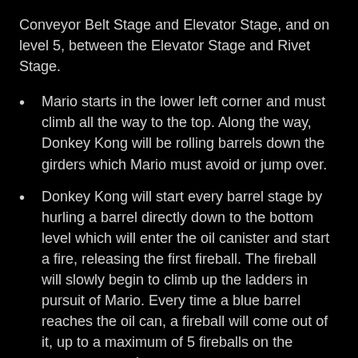Conveyor Belt Stage and Elevator Stage, and on level 5, between the Elevator Stage and Rivet Stage.
Mario starts in the lower left corner and must climb all the way to the top. Along the way, Donkey Kong will be rolling barrels down the girders which Mario must avoid or jump over.
Donkey Kong will start every barrel stage by hurling a barrel directly down to the bottom level which will enter the oil canister and start a fire, releasing the first fireball. The fireball will slowly begin to climb up the ladders in pursuit of Mario. Every time a blue barrel reaches the oil can, a fireball will come out of it, up to a maximum of 5 fireballs on the screen at any time.
Along the way, there are two hammers available for Mario to use. While useful, they slow Mario down by preventing him from climbing higher. The first hammer should generally be left alone except in case of emergencies. The second hammer should be used